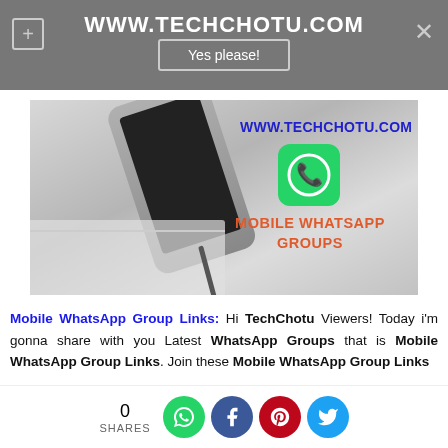WWW.TECHCHOTU.COM
[Figure (screenshot): Hero banner image showing a smartphone on a desk with text 'WWW.TECHCHOTU.COM' in blue, a WhatsApp green icon, and 'MOBILE WHATSAPP GROUPS' in red/orange text]
Mobile WhatsApp Group Links: Hi TechChotu Viewers! Today i'm gonna share with you Latest WhatsApp Groups that is Mobile WhatsApp Group Links. Join these Mobile WhatsApp Group Links
0 SHARES [WhatsApp] [Facebook] [Pinterest] [Twitter]